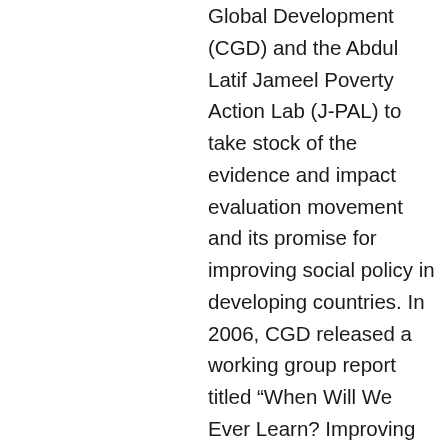Global Development (CGD) and the Abdul Latif Jameel Poverty Action Lab (J-PAL) to take stock of the evidence and impact evaluation movement and its promise for improving social policy in developing countries. In 2006, CGD released a working group report titled “When Will We Ever Learn? Improving Lives Through Impact Evaluation.” It described an evaluation gap and proposed an international effort to systematically build evidence on “what works” in development with the aim of improving the